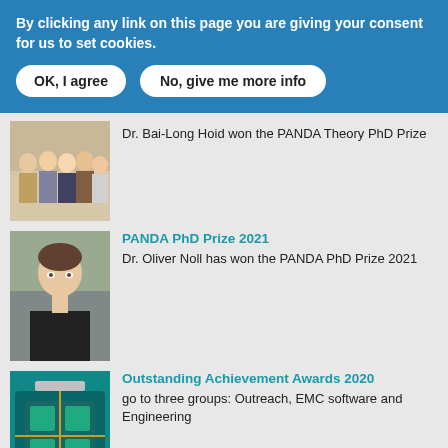By clicking any link on this page you are giving your consent for us to set cookies.
OK, I agree
No, give me more info
[Figure (photo): Group photo of several people standing together]
Dr. Bai-Long Hoid won the PANDA Theory PhD Prize
[Figure (photo): Headshot of Dr. Oliver Noll, man in black t-shirt]
PANDA PhD Prize 2021
Dr. Oliver Noll has won the PANDA PhD Prize 2021
[Figure (photo): Technical equipment photo, teal/green colored detector or engineering component]
Outstanding Achievement Awards 2020
go to three groups: Outreach, EMC software and Engineering
+++ PANDA Publication list +++
+++ PANDA Job Market +++